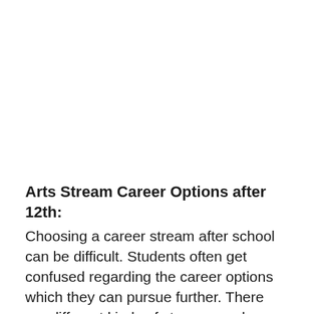Arts Stream Career Options after 12th:
Choosing a career stream after school can be difficult. Students often get confused regarding the career options which they can pursue further. There are different kinds of streams such as sciences, commerce, and arts in which a student can complete his or